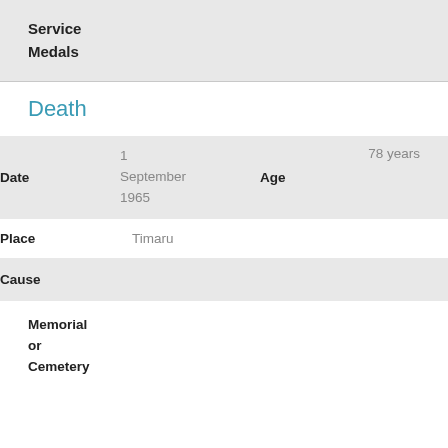Service Medals
Death
| Field | Value | Field2 | Value2 |
| --- | --- | --- | --- |
| Date | 1 September 1965 | Age | 78 years |
| Place | Timaru |  |  |
| Cause |  |  |  |
| Memorial or Cemetery |  |  |  |